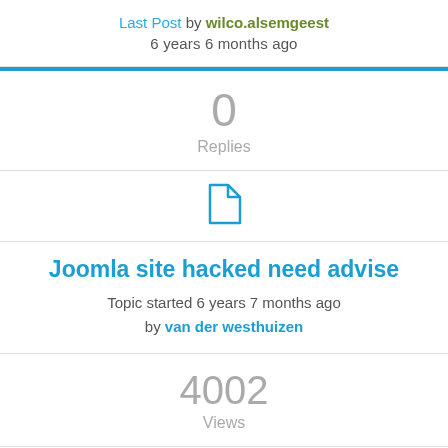Last Post by wilco.alsemgeest
6 years 6 months ago
0 Replies
[Figure (illustration): Document/page icon in blue outline style]
Joomla site hacked need advise
Topic started 6 years 7 months ago by van der westhuizen
4002 Views
Last Post by van der westhuizen
6 years 7 months ago